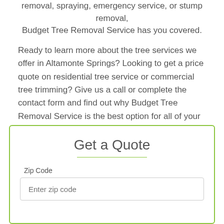removal, spraying, emergency service, or stump removal, Budget Tree Removal Service has you covered.
Ready to learn more about the tree services we offer in Altamonte Springs? Looking to get a price quote on residential tree service or commercial tree trimming? Give us a call or complete the contact form and find out why Budget Tree Removal Service is the best option for all of your Altamonte Springs tree service needs.
Get a Quote
Zip Code
Enter zip code